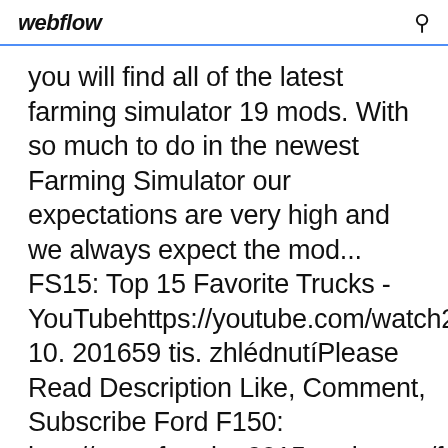webflow
you will find all of the latest farming simulator 19 mods. With so much to do in the newest Farming Simulator our expectations are very high and we always expect the mod... FS15: Top 15 Favorite Trucks - YouTubehttps://youtube.com/watch2310. 201659 tis. zhlédnutíPlease Read Description Like, Comment, Subscribe Ford F150: http://www.farming2015mods.com/fard-f150-car/ 2017 Ford: httEuro